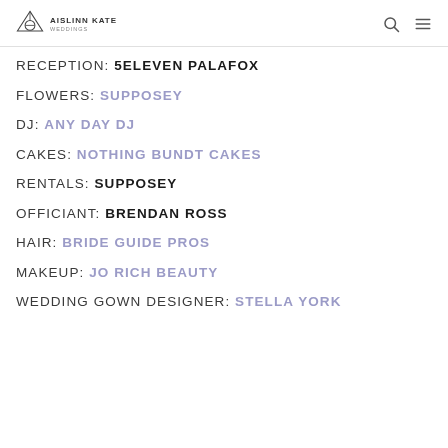AISLINN KATE WEDDINGS
RECEPTION: 5ELEVEN PALAFOX
FLOWERS: SUPPOSEY
DJ: ANY DAY DJ
CAKES: NOTHING BUNDT CAKES
RENTALS: SUPPOSEY
OFFICIANT: BRENDAN ROSS
HAIR: BRIDE GUIDE PROS
MAKEUP: JO RICH BEAUTY
WEDDING GOWN DESIGNER: STELLA YORK